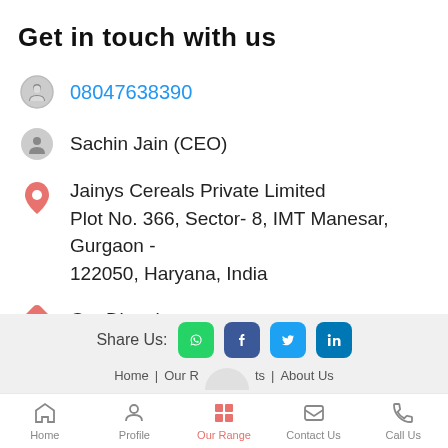Get in touch with us
08047638390
Sachin Jain (CEO)
Jainys Cereals Private Limited
Plot No. 366, Sector- 8, IMT Manesar, Gurgaon - 122050, Haryana, India
Get Directions
Call Us
Get Quote
Share Us:
Home | Our Range | About Us
Home | Profile | Our Range | Contact Us | Call Us